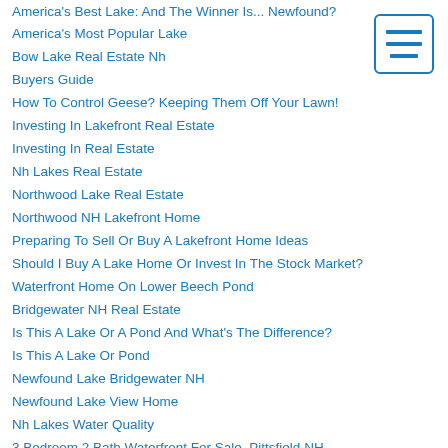America's Best Lake: And The Winner Is... Newfound?
America's Most Popular Lake
Bow Lake Real Estate Nh
Buyers Guide
How To Control Geese? Keeping Them Off Your Lawn!
Investing In Lakefront Real Estate
Investing In Real Estate
Nh Lakes Real Estate
Northwood Lake Real Estate
Northwood NH Lakefront Home
Preparing To Sell Or Buy A Lakefront Home Ideas
Should I Buy A Lake Home Or Invest In The Stock Market?
Waterfront Home On Lower Beech Pond
Bridgewater NH Real Estate
Is This A Lake Or A Pond And What's The Difference?
Is This A Lake Or Pond
Newfound Lake Bridgewater NH
Newfound Lake View Home
Nh Lakes Water Quality
3 Bedroom 2 Bath Waterfront For Sale. Pittsfield NH
Boating - Trailering - Boat Rentals On NH Lakes
Dragonflies Are Natures Mosquito Magnetic
Flag Day
[Figure (other): Hamburger menu icon — three horizontal blue lines inside a blue-bordered rounded rectangle]